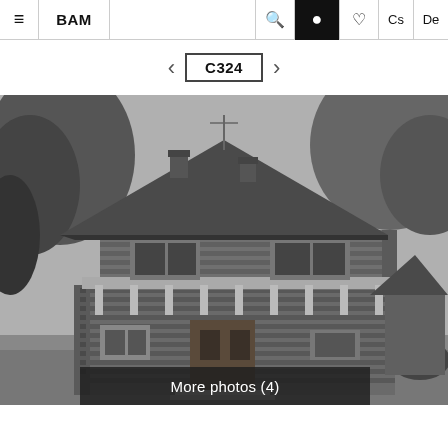≡  BAM  [search] [circle] [heart] Cs  De
C324
[Figure (photo): Black and white photograph of a two-storey wooden log cabin style house with a wide overhanging hip roof, a balcony on the second floor, surrounded by trees.]
More photos (4)